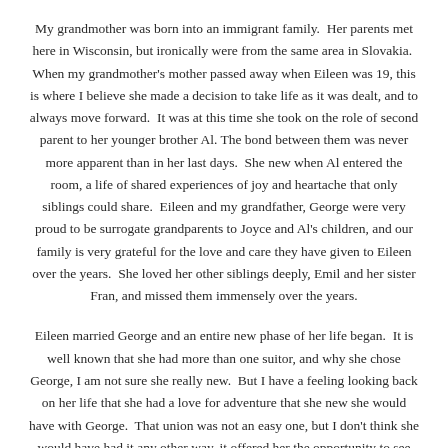My grandmother was born into an immigrant family.  Her parents met here in Wisconsin, but ironically were from the same area in Slovakia.  When my grandmother's mother passed away when Eileen was 19, this is where I believe she made a decision to take life as it was dealt, and to always move forward.  It was at this time she took on the role of second parent to her younger brother Al.  The bond between them was never more apparent than in her last days.  She new when Al entered the room, a life of shared experiences of joy and heartache that only siblings could share.  Eileen and my grandfather, George were very proud to be surrogate grandparents to Joyce and Al's children, and our family is very grateful for the love and care they have given to Eileen over the years.  She loved her other siblings deeply, Emil and her sister Fran, and missed them immensely over the years.
Eileen married George and an entire new phase of her life began.  It is well known that she had more than one suitor, and why she chose George, I am not sure she really new.  But I have a feeling looking back on her life that she had a love for adventure that she new she would have with George.  That union was not an easy one, but I don't think she would have had it any other way, it offered her the opportunity to see the world in an unconventional way, and though the seas may have been rough at times, she had very strong sails.